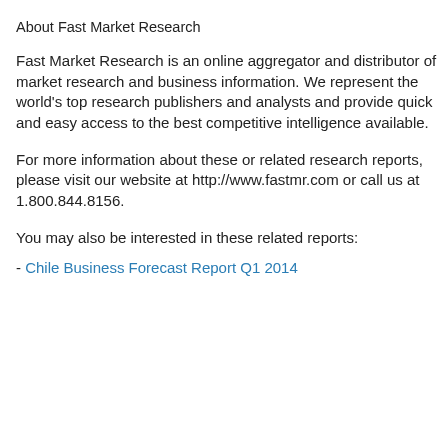About Fast Market Research
Fast Market Research is an online aggregator and distributor of market research and business information. We represent the world's top research publishers and analysts and provide quick and easy access to the best competitive intelligence available.
For more information about these or related research reports, please visit our website at http://www.fastmr.com or call us at 1.800.844.8156.
You may also be interested in these related reports:
- Chile Business Forecast Report Q1 2014